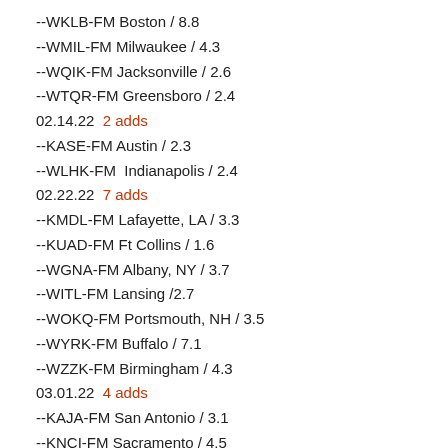--WKLB-FM Boston / 8.8
--WMIL-FM Milwaukee / 4.3
--WQIK-FM Jacksonville / 2.6
--WTQR-FM Greensboro / 2.4
02.14.22  2 adds
--KASE-FM Austin / 2.3
--WLHK-FM  Indianapolis / 2.4
02.22.22  7 adds
--KMDL-FM Lafayette, LA / 3.3
--KUAD-FM Ft Collins / 1.6
--WGNA-FM Albany, NY / 3.7
--WITL-FM Lansing /2.7
--WOKQ-FM Portsmouth, NH / 3.5
--WYRK-FM Buffalo / 7.1
--WZZK-FM Birmingham / 4.3
03.01.22  4 adds
--KAJA-FM San Antonio / 3.1
--KNCI-FM Sacramento / 4.5
--KSKS FM Fresno / 3.2
--WDSY-FM Pittsburgh / 3.3
03.08.22  1 adds